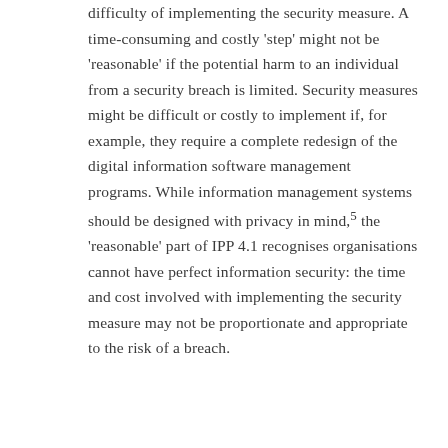difficulty of implementing the security measure. A time-consuming and costly 'step' might not be 'reasonable' if the potential harm to an individual from a security breach is limited. Security measures might be difficult or costly to implement if, for example, they require a complete redesign of the digital information software management programs. While information management systems should be designed with privacy in mind,5 the 'reasonable' part of IPP 4.1 recognises organisations cannot have perfect information security: the time and cost involved with implementing the security measure may not be proportionate and appropriate to the risk of a breach.